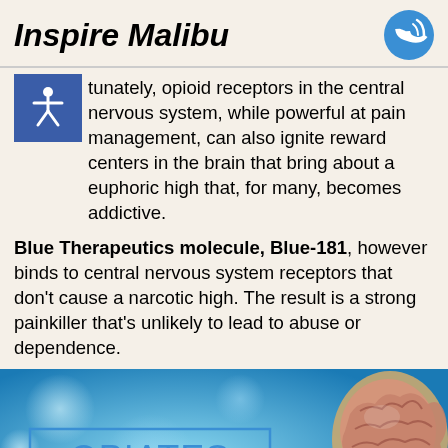Inspire Malibu
tunately, opioid receptors in the central nervous system, while powerful at pain management, can also ignite reward centers in the brain that bring about a euphoric high that, for many, becomes addictive.
Blue Therapeutics molecule, Blue-181, however binds to central nervous system receptors that don't cause a narcotic high. The result is a strong painkiller that's unlikely to lead to abuse or dependence.
[Figure (illustration): Medical illustration showing a cross-section of a human brain with a blue arrow pointing from a label reading 'OPIATES' to the brain. Blue bokeh background. Green phone icon in bottom right corner.]